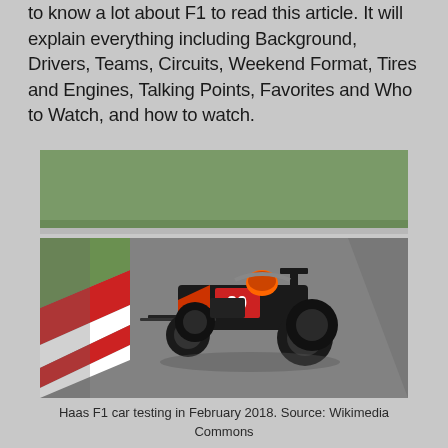to know a lot about F1 to read this article. It will explain everything including Background, Drivers, Teams, Circuits, Weekend Format, Tires and Engines, Talking Points, Favorites and Who to Watch, and how to watch.
[Figure (photo): Haas F1 car (number 20, black and red livery) photographed during testing at a racing circuit in February 2018. The car is on a grey asphalt track with red and white kerbing on the left and green grass areas visible.]
Haas F1 car testing in February 2018. Source: Wikimedia Commons